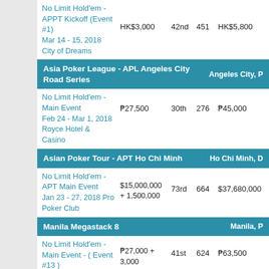| Event | Buy-in | Place | Entries | Winnings | Points |
| --- | --- | --- | --- | --- | --- |
| No Limit Hold'em - APPT Kickoff (Event #1)
Mar 14 - 15, 2018
City of Dreams | HK$3,000 | 42nd | 451 | HK$5,800 | — |
| Asia Poker League - APL Angeles City Road Series |  |  |  |  | Angeles City, P |
| No Limit Hold'em - Main Event
Feb 24 - Mar 1, 2018
Royce Hotel & Casino | ₱27,500 | 30th | 276 | ₱45,000 | — |
| Asian Poker Tour - APT Ho Chi Minh |  |  |  |  | Ho Chi Minh, D |
| No Limit Hold'em - APT Main Event
Jan 23 - 27, 2018 Pro Poker Club | $15,000,000 + 1,500,000 | 73rd | 664 | $37,680,000 | — |
| Manila Megastack 8 |  |  |  |  | Manila, P |
| No Limit Hold'em - Main Event - ( Event #13 ) | ₱27,000 + 3,000 | 41st | 624 | ₱63,500 | — |